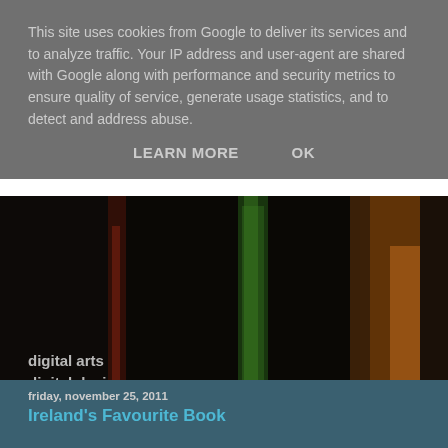This site uses cookies from Google to deliver its services and to analyze traffic. Your IP address and user-agent are shared with Google along with performance and security metrics to ensure quality of service, generate usage statistics, and to detect and address abuse.
LEARN MORE    OK
[Figure (photo): Night-time alley/street scene with dark tones, warm orange lighting, a green-lit doorway, and text overlay reading: digital arts, digital design, digital marketing, digital technologies]
friday, november 25, 2011
Ireland's Favourite Book